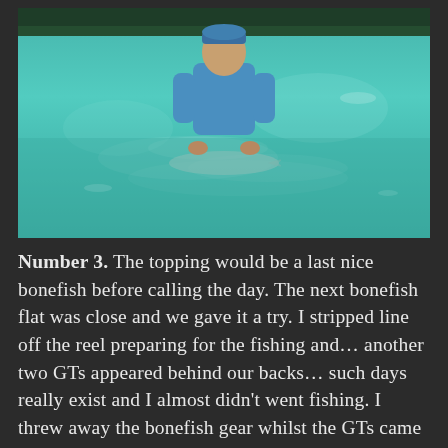[Figure (photo): A person wearing a blue long-sleeve shirt and blue cap standing waist-deep in turquoise/teal shallow water, appearing to hold a bonefish just below the surface. Green vegetation/trees visible at the top of the image in the background.]
Number 3. The topping would be a last nice bonefish before calling the day. The next bonefish flat was close and we gave it a try. I stripped line off the reel preparing for the fishing and… another two GTs appeared behind our backs… such days really exist and I almost didn't went fishing. I threw away the bonefish gear whilst the GTs came in